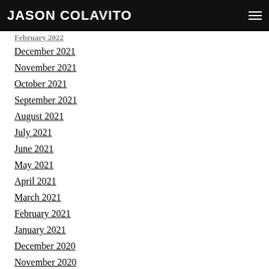JASON COLAVITO
February 2022
December 2021
November 2021
October 2021
September 2021
August 2021
July 2021
June 2021
May 2021
April 2021
March 2021
February 2021
January 2021
December 2020
November 2020
October 2020
September 2020
August 2020